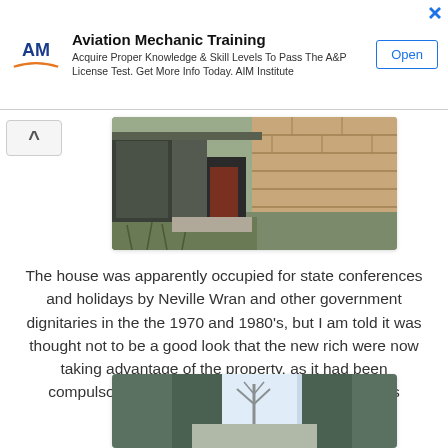[Figure (infographic): Advertisement banner for Aviation Mechanic Training by AIM Institute. Shows AM logo with wings, title 'Aviation Mechanic Training', body text 'Acquire Proper Knowledge & Skill Levels To Pass The A&P License Test. Get More Info Today. AIM Institute', and an 'Open' button.]
[Figure (photo): Photo of an abandoned brick building exterior with overgrown vegetation, showing a doorway and sandstone block walls.]
The house was apparently occupied for state conferences and holidays by Neville Wran and other government dignitaries in the the 1970 and 1980's, but I am told it was thought not to be a good look that the new rich were now taking advantage of the property, as it had been compulsorily acquired from private hands, so it was abandoned.
[Figure (photo): Photo of a tree-lined path or driveway with blue-tinted light, appearing to lead through bushland.]